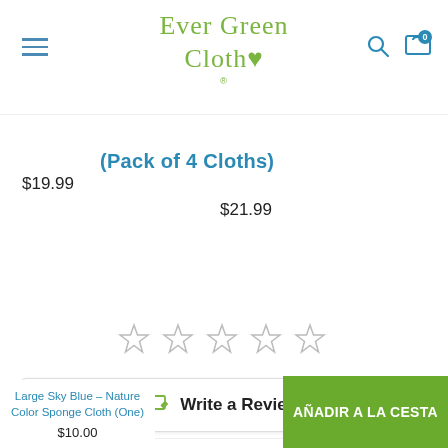Ever Green Cloth
$19.99
(Pack of 4 Cloths)
$21.99
[Figure (other): Five empty star rating icons]
Write a Review
Powered by STAMPED
Large Sky Blue – Nature Color Sponge Cloth (One)
$10.00
AÑADIR A LA CESTA